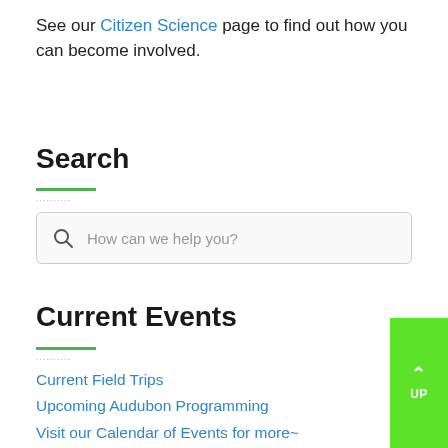See our Citizen Science page to find out how you can become involved.
Search
[Figure (other): Search input box with magnifying glass icon and placeholder text 'How can we help you?']
Current Events
Current Field Trips
Upcoming Audubon Programming
Visit our Calendar of Events for more~